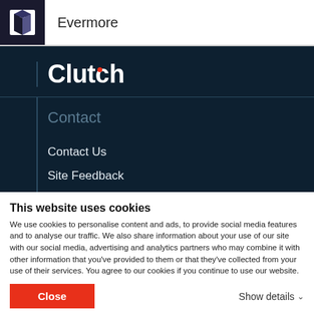[Figure (logo): Evermore company logo with diamond/stack icon in black and white, with text 'Evermore']
[Figure (logo): Clutch logo in white bold text with red dot on the letter 'c']
Contact
Contact Us
Site Feedback
This website uses cookies
We use cookies to personalise content and ads, to provide social media features and to analyse our traffic. We also share information about your use of our site with our social media, advertising and analytics partners who may combine it with other information that you've provided to them or that they've collected from your use of their services. You agree to our cookies if you continue to use our website.
Close
Show details